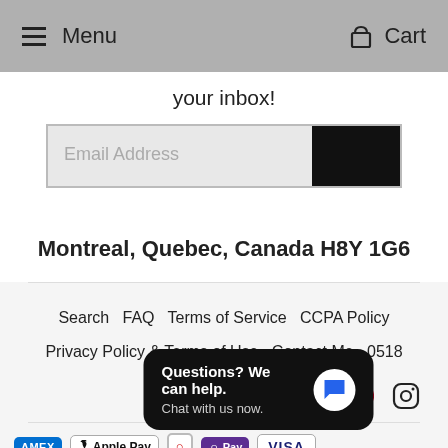Menu   Cart
your inbox!
[Figure (screenshot): Email address input field with black submit button]
Montreal, Quebec, Canada H8Y 1G6
Search   FAQ   Terms of Service   CCPA Policy   Privacy Policy & Terms of Use   Contact Me   0518
[Figure (illustration): Social media icons: Twitter, Facebook, Pinterest, Instagram]
[Figure (illustration): Payment method icons: Amex, Apple Pay, Diners, Shop Pay, Visa]
[Figure (screenshot): Chat popup: Questions? We can help. Chat with us now.]